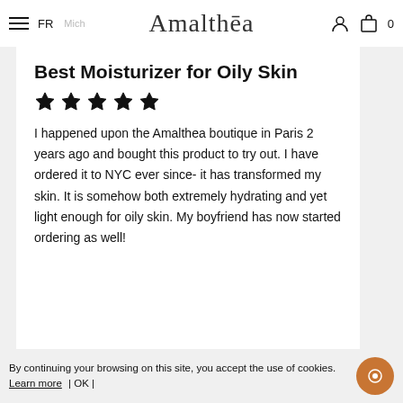FR  Amalthēa
Best Moisturizer for Oily Skin
[Figure (other): Five filled black stars rating]
I happened upon the Amalthea boutique in Paris 2 years ago and bought this product to try out. I have ordered it to NYC ever since- it has transformed my skin. It is somehow both extremely hydrating and yet light enough for oily skin. My boyfriend has now started ordering as well!
By continuing your browsing on this site, you accept the use of cookies. Learn more | OK |